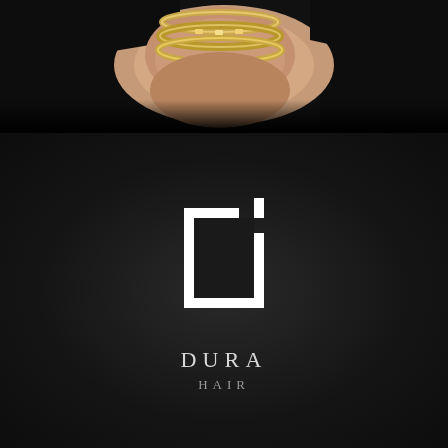[Figure (photo): Close-up photo of a person's wrist wearing gold bangles/bracelets, wearing dark clothing, against a dark background]
[Figure (logo): Dura Hair logo on dark background: a square 'd' lettermark icon in white outline, with 'DURA' in spaced white uppercase letters and 'HAIR' in smaller spaced letters below]